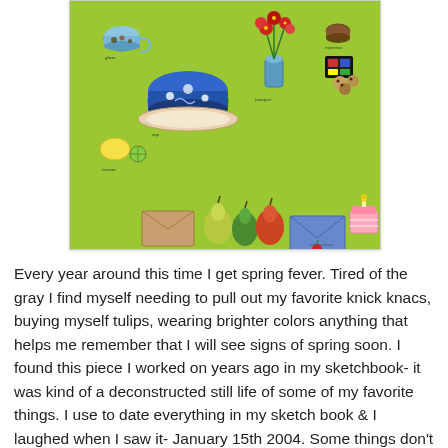[Figure (illustration): A colorful illustrated still life on a lime green background featuring various items including teacups, flowers in a vase, fruits (pears, lemon), an envelope, a plate, a wine glass, a small card labeled 'address', cookies, a cake, a tulip in a vase, and other knick-knacks, with handwritten labels next to each item.]
Every year around this time I get spring fever. Tired of the gray I find myself needing to pull out my favorite knick knacs, buying myself tulips, wearing brighter colors anything that helps me remember that I will see signs of spring soon. I found this piece I worked on years ago in my sketchbook- it was kind of a deconstructed still life of some of my favorite things. I use to date everything in my sketch book & I laughed when I saw it- January 15th 2004. Some things don't change like my need to surround myself with pretty